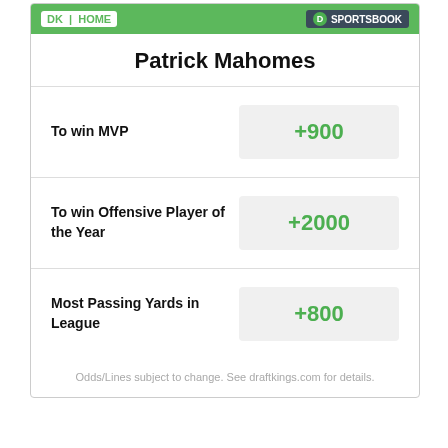DraftKings Sportsbook
Patrick Mahomes
| Bet | Odds |
| --- | --- |
| To win MVP | +900 |
| To win Offensive Player of the Year | +2000 |
| Most Passing Yards in League | +800 |
Odds/Lines subject to change. See draftkings.com for details.